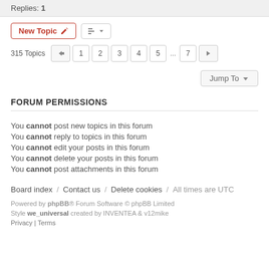Replies: 1
New Topic | Sort | 315 Topics | 1 2 3 4 5 ... 7 >
Jump To
FORUM PERMISSIONS
You cannot post new topics in this forum
You cannot reply to topics in this forum
You cannot edit your posts in this forum
You cannot delete your posts in this forum
You cannot post attachments in this forum
Board index / Contact us / Delete cookies / All times are UTC
Powered by phpBB® Forum Software © phpBB Limited
Style we_universal created by INVENTEA & v12mike
Privacy | Terms